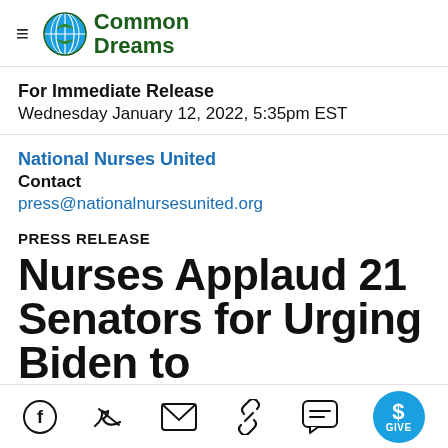Common Dreams
For Immediate Release
Wednesday January 12, 2022, 5:35pm EST
National Nurses United
Contact
press@nationalnursesunited.org
PRESS RELEASE
Nurses Applaud 21 Senators for Urging Biden to Immediately